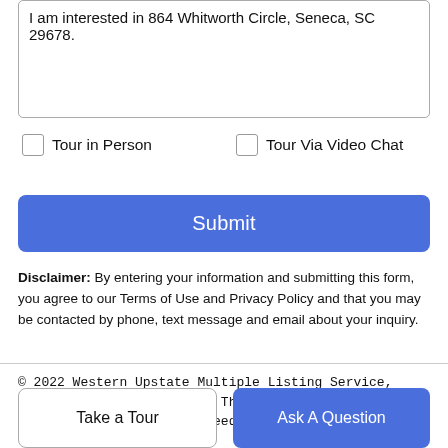I am interested in 864 Whitworth Circle, Seneca, SC 29678.
Tour in Person
Tour Via Video Chat
Submit
Disclaimer: By entering your information and submitting this form, you agree to our Terms of Use and Privacy Policy and that you may be contacted by phone, text message and email about your inquiry.
© 2022 Western Upstate Multiple Listing Service, Inc. All rights reserved. This information is deemed reliable, but not guaranteed.
Take a Tour
Ask A Question